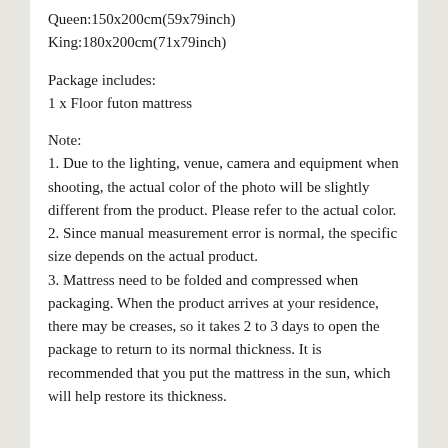Queen:150x200cm(59x79inch)
King:180x200cm(71x79inch)
Package includes:
1 x Floor futon mattress
Note:
1. Due to the lighting, venue, camera and equipment when shooting, the actual color of the photo will be slightly different from the product. Please refer to the actual color.
2. Since manual measurement error is normal, the specific size depends on the actual product.
3. Mattress need to be folded and compressed when packaging. When the product arrives at your residence, there may be creases, so it takes 2 to 3 days to open the package to return to its normal thickness. It is recommended that you put the mattress in the sun, which will help restore its thickness.